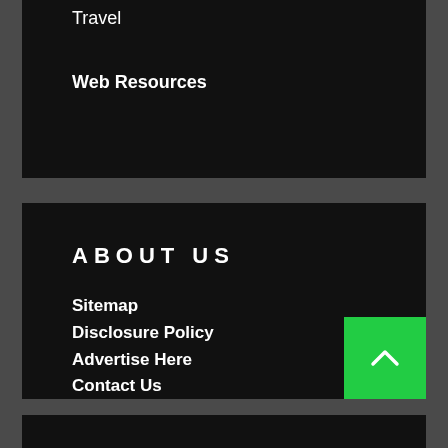Travel
Web Resources
ABOUT US
Sitemap
Disclosure Policy
Advertise Here
Contact Us